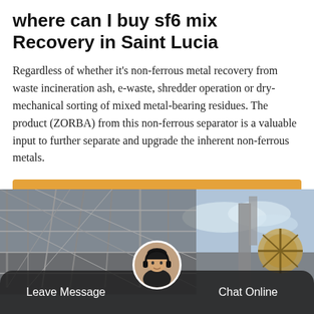where can I buy sf6 mix Recovery in Saint Lucia
Regardless of whether it's non-ferrous metal recovery from waste incineration ash, e-waste, shredder operation or dry-mechanical sorting of mixed metal-bearing residues. The product (ZORBA) from this non-ferrous separator is a valuable input to further separate and upgrade the inherent non-ferrous metals.
Get Price
[Figure (photo): Industrial facility with metal scaffolding structures and machinery, gray sky background. Customer service representative avatar at bottom center.]